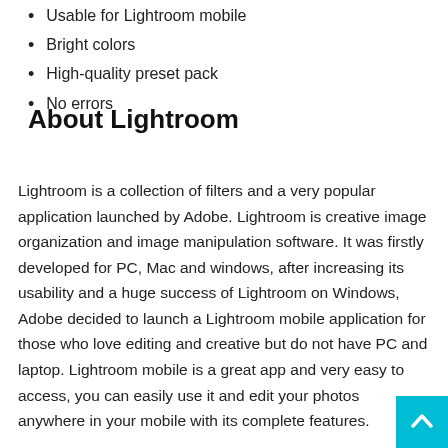Usable for Lightroom mobile
Bright colors
High-quality preset pack
No errors
About Lightroom
Lightroom is a collection of filters and a very popular application launched by Adobe. Lightroom is creative image organization and image manipulation software. It was firstly developed for PC, Mac and windows, after increasing its usability and a huge success of Lightroom on Windows, Adobe decided to launch a Lightroom mobile application for those who love editing and creative but do not have PC and laptop. Lightroom mobile is a great app and very easy to access, you can easily use it and edit your photos anywhere in your mobile with its complete features.